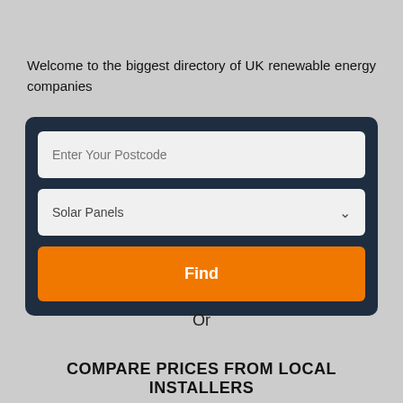Welcome to the biggest directory of UK renewable energy companies
[Figure (screenshot): Search form with dark navy background containing a postcode text input field, a Solar Panels dropdown selector, and an orange Find button]
Or
COMPARE PRICES FROM LOCAL INSTALLERS